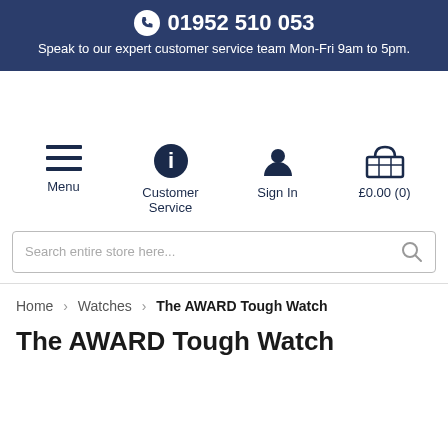📞 01952 510 053 — Speak to our expert customer service team Mon-Fri 9am to 5pm.
[Figure (screenshot): Navigation icons: Menu (hamburger), Customer Service (info), Sign In (person), £0.00 (0) basket]
Search entire store here...
Home > Watches > The AWARD Tough Watch
The AWARD Tough Watch